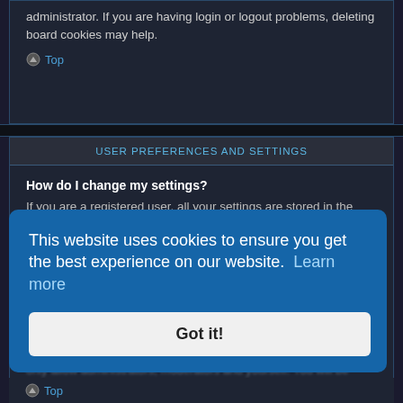administrator. If you are having login or logout problems, deleting board cookies may help.
Top
USER PREFERENCES AND SETTINGS
How do I change my settings?
If you are a registered user, all your settings are stored in the board database. To alter them, visit your User Control Panel; a link can usually be found by clicking on your username at the top of board pages. This system will allow you to change all your settings and preferences.
Top
within your User Control Panel. Under "Board preferences", you will find the option to hide... this session after which you will automatically be granted... as I am a registered user. You will be counted as a hidden user.
Top
This website uses cookies to ensure you get the best experience on our website. Learn more
Got it!